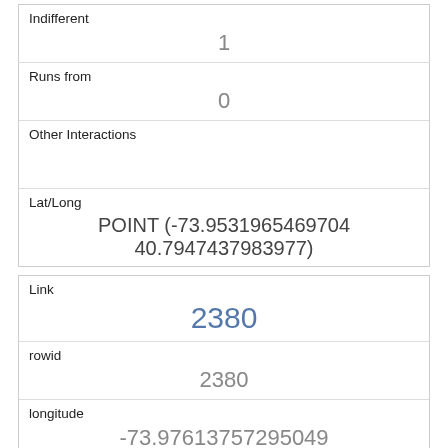| Indifferent | 1 |
| Runs from | 0 |
| Other Interactions |  |
| Lat/Long | POINT (-73.9531965469704 40.7947437983977) |
| Link | 2380 |
| rowid | 2380 |
| longitude | -73.97613757295049 |
| latitude | 40.766223189212496 |
| Unique Squirrel ID | 1F-PM-1019-02 |
| Hectare |  |